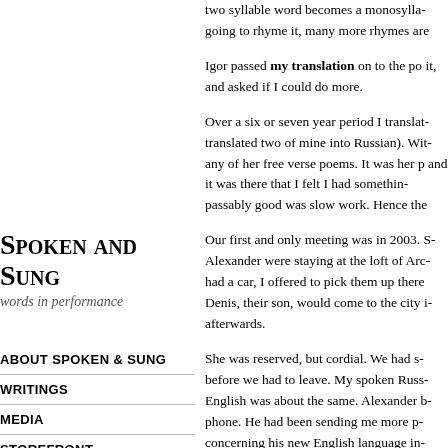two syllable word becomes a monosyllable, going to rhyme it, many more rhymes are
Igor passed my translation on to the po- it, and asked if I could do more.
Over a six or seven year period I translat- translated two of mine into Russian). With any of her free verse poems. It was her p- and it was there that I felt I had somethin- passably good was slow work. Hence the
Spoken and Sung
words in performance
ABOUT SPOKEN & SUNG
WRITINGS
MEDIA
STOREFRONT
FEED
Our first and only meeting was in 2003. S- Alexander were staying at the loft of Arca- had a car, I offered to pick them up there Denis, their son, would come to the city i- afterwards.
She was reserved, but cordial. We had s- before we had to leave. My spoken Russ- English was about the same. Alexander b- phone. He had been sending me more p- concerning his new English language in-